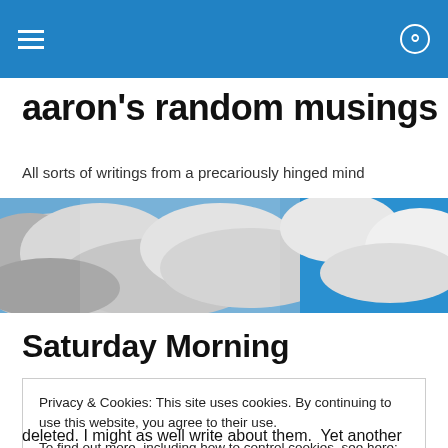aaron's random musings — navigation bar with hamburger menu and search icon
aaron's random musings
All sorts of writings from a precariously hinged mind
[Figure (photo): Hero image of clouds and blue sky, a landscape-oriented photograph spanning the full page width]
Saturday Morning
Privacy & Cookies: This site uses cookies. By continuing to use this website, you agree to their use.
To find out more, including how to control cookies, see here: Cookie Policy
[Close and accept button]
deleted. I might as well write about them. Yet another